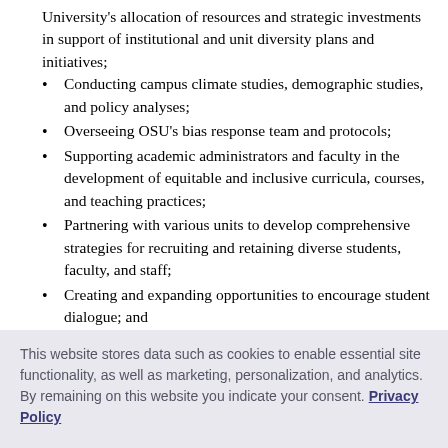University's allocation of resources and strategic investments in support of institutional and unit diversity plans and initiatives;
Conducting campus climate studies, demographic studies, and policy analyses;
Overseeing OSU's bias response team and protocols;
Supporting academic administrators and faculty in the development of equitable and inclusive curricula, courses, and teaching practices;
Partnering with various units to develop comprehensive strategies for recruiting and retaining diverse students, faculty, and staff;
Creating and expanding opportunities to encourage student dialogue; and
Affirming and celebrating the University's commitment
This website stores data such as cookies to enable essential site functionality, as well as marketing, personalization, and analytics. By remaining on this website you indicate your consent. Privacy Policy